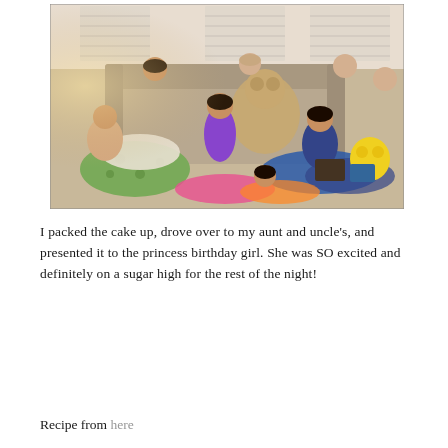[Figure (photo): Group of young girls at a slumber/birthday party, sitting and lounging on couches and floor with sleeping bags, pillows, stuffed animals, and blankets in a living room setting.]
I packed the cake up, drove over to my aunt and uncle's, and presented it to the princess birthday girl. She was SO excited and definitely on a sugar high for the rest of the night!
Recipe from here